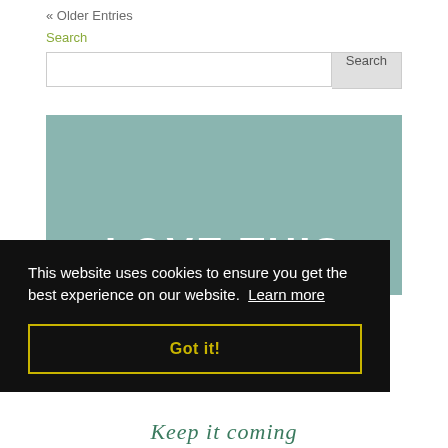« Older Entries
Search
[Figure (screenshot): Search input box with Search button]
[Figure (illustration): Teal banner with bold white text 'LOVE THIS']
This website uses cookies to ensure you get the best experience on our website. Learn more
Got it!
Keep it coming